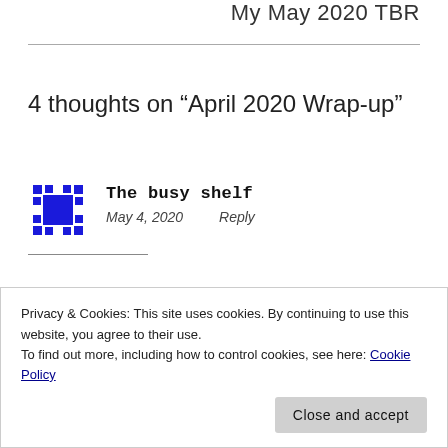My May 2020 TBR
4 thoughts on “April 2020 Wrap-up”
The busy shelf
May 4, 2020   Reply
Privacy & Cookies: This site uses cookies. By continuing to use this website, you agree to their use.
To find out more, including how to control cookies, see here: Cookie Policy
Close and accept